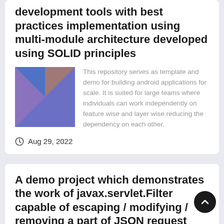development tools with best practices implementation using multi-module architecture developed using SOLID principles
[Figure (logo): Kotlin programming language logo — geometric K shape with blue, orange, and purple triangular sections]
This repository serves as template and demo for building android applications for scale. It is suited for large teams where individuals can work independently on feature wise and layer wise reducing the dependency on each other.
Aug 29, 2022
A demo project which demonstrates the work of javax.servlet.Filter capable of escaping / modifying / removing a part of JSON request based on